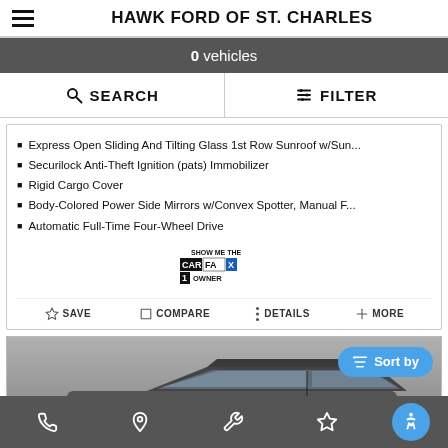HAWK FORD OF ST. CHARLES
0 vehicles
SEARCH   FILTER
Express Open Sliding And Tilting Glass 1st Row Sunroof w/Sun...
Securilock Anti-Theft Ignition (pats) Immobilizer
Rigid Cargo Cover
Body-Colored Power Side Mirrors w/Convex Spotter, Manual F...
Automatic Full-Time Four-Wheel Drive
[Figure (logo): SHOW ME THE CARFAX 1 OWNER badge]
SAVE   COMPARE   DETAILS   MORE
[Figure (photo): Partial view of a dark gray/silver car from above/side angle]
Sort by
Phone | Location | Wrench/Service | Favorites | Accessibility